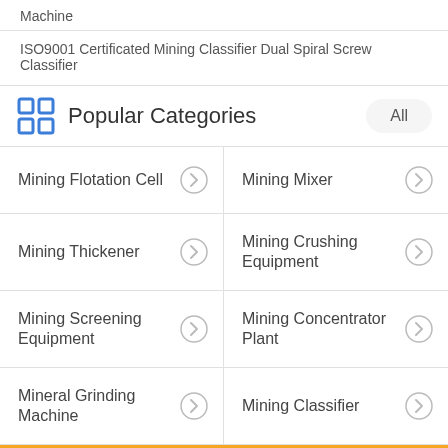Machine
ISO9001 Certificated Mining Classifier Dual Spiral Screw Classifier
Popular Categories
Mining Flotation Cell
Mining Mixer
Mining Thickener
Mining Crushing Equipment
Mining Screening Equipment
Mining Concentrator Plant
Mineral Grinding Machine
Mining Classifier
Request a Quote